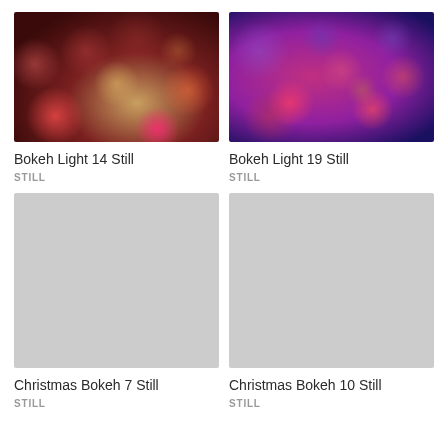[Figure (photo): Bokeh light photograph with warm red, pink, and golden circular blurred light orbs on dark brown/red background]
[Figure (photo): Bokeh light photograph with pink, purple, and red circular blurred light orbs on dark purple/blue background]
Bokeh Light 14 Still
STILL
Bokeh Light 19 Still
STILL
[Figure (photo): Placeholder gray image for Christmas Bokeh 7 Still]
[Figure (photo): Placeholder gray image for Christmas Bokeh 10 Still]
Christmas Bokeh 7 Still
STILL
Christmas Bokeh 10 Still
STILL